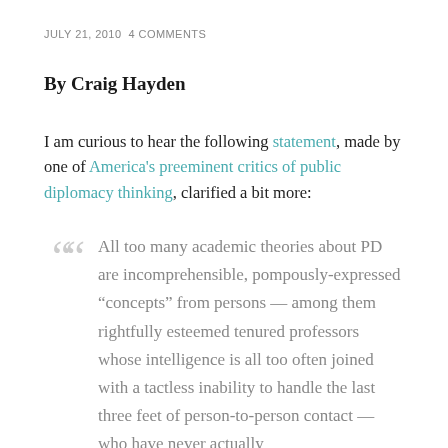JULY 21, 2010 4 COMMENTS
By Craig Hayden
I am curious to hear the following statement, made by one of America's preeminent critics of public diplomacy thinking, clarified a bit more:
All too many academic theories about PD are incomprehensible, pompously-expressed "concepts" from persons — among them rightfully esteemed tenured professors whose intelligence is all too often joined with a tactless inability to handle the last three feet of person-to-person contact — who have never actually